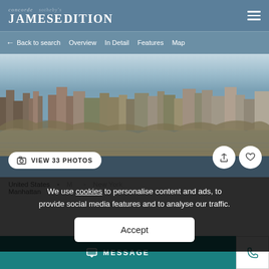concorde · JamesEdition
← Back to search   Overview   In Detail   Features   Map
[Figure (photo): Aerial/waterfront cityscape photo of Manhattan, New York, showing the Hudson River and city skyline with buildings and autumn foliage]
VIEW 33 PHOTOS
We use cookies to personalise content and ads, to provide social media features and to analyse our traffic.
Accept
United States   Manhattan   New York
Manhattan
MESSAGE